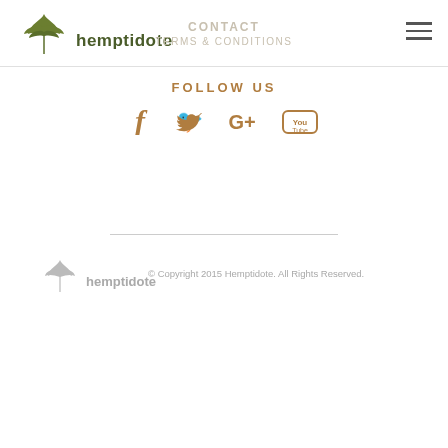[Figure (logo): Hemptidote logo with cannabis leaf and text]
CONTACT
TERMS & CONDITIONS
[Figure (other): Hamburger menu icon (three horizontal lines)]
FOLLOW US
[Figure (other): Social media icons: Facebook, Twitter, Google+, YouTube in brown/gold color]
[Figure (logo): Hemptidote footer logo in gray]
© Copyright 2015 Hemptidote. All Rights Reserved.